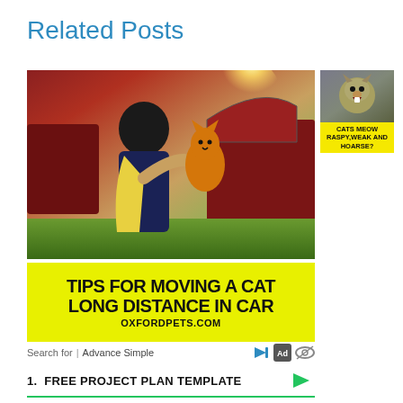Related Posts
[Figure (photo): Woman holding an orange cat near the open trunk of a red car outdoors, with yellow text overlay reading TIPS FOR MOVING A CAT LONG DISTANCE IN CAR and OXFORDPETS.COM on a yellow background banner]
[Figure (photo): Small thumbnail image of a cat looking up with mouth open, with yellow text overlay reading CATS MEOW RASPY, WEAK AND HOARSE?]
Search for | Advance Simple
1.  FREE PROJECT PLAN TEMPLATE